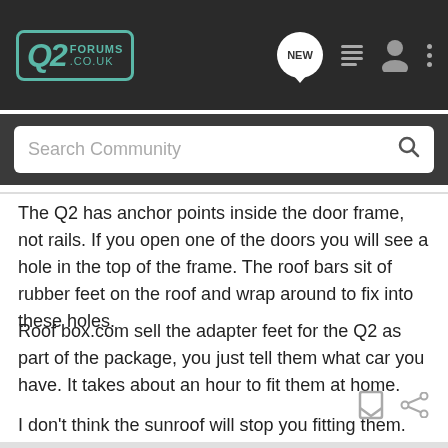Q2 FORUMS .CO.UK — navigation bar with Search Community input
The Q2 has anchor points inside the door frame, not rails. If you open one of the doors you will see a hole in the top of the frame. The roof bars sit of rubber feet on the roof and wrap around to fix into these holes.
Roof box.com sell the adapter feet for the Q2 as part of the package, you just tell them what car you have. It takes about an hour to fit them at home.
I don't think the sunroof will stop you fitting them. You may not be able to open the sunroof with them on.